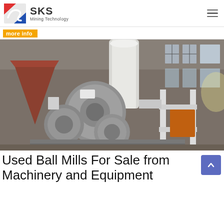[Figure (logo): SKS Mining Technology logo with red and blue stylized S graphic and text 'SKS Mining Technology']
more info
[Figure (photo): Industrial photograph of ball mill machinery inside a factory/warehouse. Large grey metallic cylindrical mill components visible in foreground, industrial building structure with windows in background, other processing equipment visible.]
Used Ball Mills For Sale from Machinery and Equipment